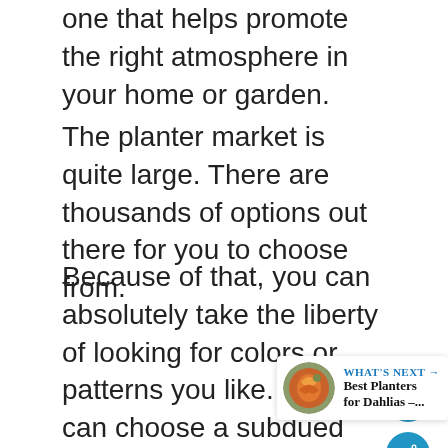one that helps promote the right atmosphere in your home or garden.
The planter market is quite large. There are thousands of options out there for you to choose from.
Because of that, you can absolutely take the liberty of looking for colors or patterns you like. You can choose a subdued neutral shade that would fit in anywhere or a bold design that immediately becomes a centerpiece.
[Figure (other): Heart/favorite icon button (circular blue button with heart icon)]
[Figure (other): Share icon button (circular blue button with share icon)]
[Figure (other): What's Next promo banner with circular image of orange dahlia flowers, text: WHAT'S NEXT → Best Planters for Dahlias –...]